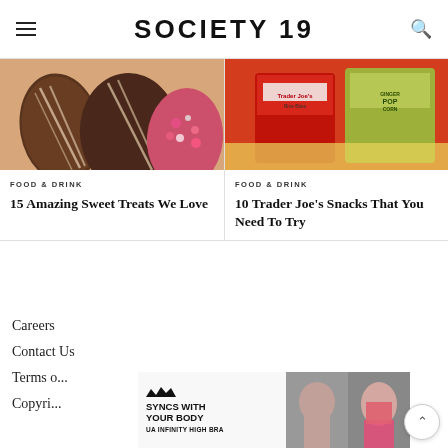SOCIETY19
[Figure (photo): Chocolate-covered strawberries on a white plate, some with white drizzle stripes, one with red and pink sprinkles]
[Figure (photo): Trader Joe's snack products including rice bites and ginger popcorn packaging on a pink and red background]
FOOD & DRINK
15 Amazing Sweet Treats We Love
FOOD & DRINK
10 Trader Joe's Snacks That You Need To Try
Careers
Contact Us
Terms o...
Copyri...
[Figure (photo): Under Armour advertisement: SYNCS WITH YOUR BODY - UA INFINITY HIGH BRA, with image of woman working out]